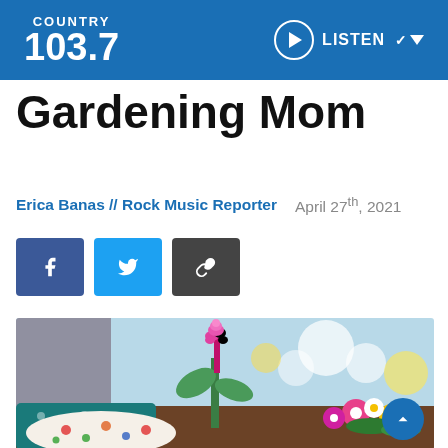COUNTRY 103.7 | LISTEN
Gardening Mom
Erica Banas // Rock Music Reporter   April 27th, 2021
[Figure (photo): Person in gardening gloves planting a pink hyacinth flower among colorful spring flowers including pink, yellow, and white blooms, with a blurred garden background.]